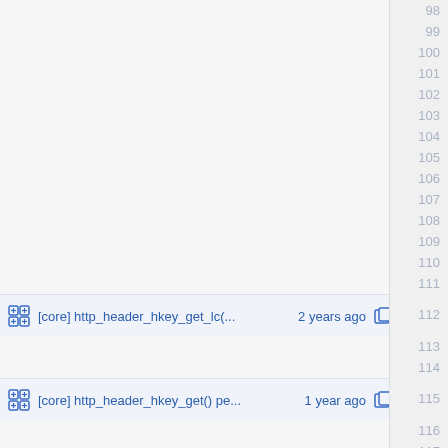[Figure (screenshot): Code viewer screenshot showing line numbers 98-119 on the right side with two commit annotation rows visible: line 112 shows '[core] http_header_hkey_get_lc(... 2 years ago' with copy icon, and line 115 shows '[core] http_header_hkey_get() pe... 1 year ago' with copy icon. Lines 98-111, 113-114, 116-119 are blank code lines.]